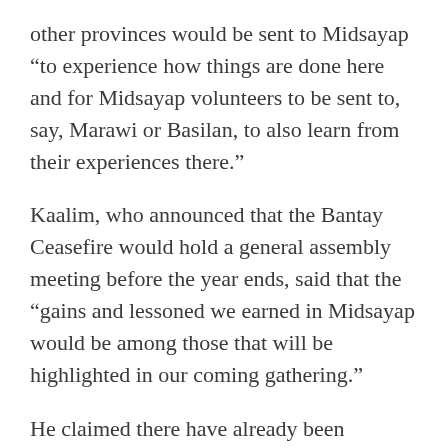other provinces would be sent to Midsayap “to experience how things are done here and for Midsayap volunteers to be sent to, say, Marawi or Basilan, to also learn from their experiences there.”
Kaalim, who announced that the Bantay Ceasefire would hold a general assembly meeting before the year ends, said that the “gains and lessoned we earned in Midsayap would be among those that will be highlighted in our coming gathering.”
He claimed there have already been “countless little gains” of Bantay Ceasefire, “but we would rather want to consider ourselves an organization that is still continuously learning from these lessons, especially from our